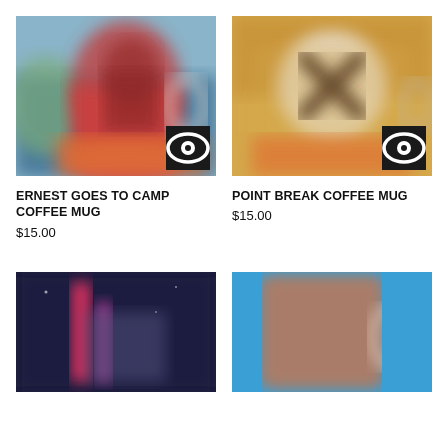[Figure (photo): Blurred coffee mug with colorful artwork, Ernest Goes to Camp themed]
ERNEST GOES TO CAMP COFFEE MUG
$15.00
[Figure (photo): Blurred coffee mug with Point Break artwork featuring an X symbol on warm background]
POINT BREAK COFFEE MUG
$15.00
[Figure (photo): Blurred coffee mug with dark navy background and red/purple design elements, partially visible]
[Figure (photo): Coffee mug on bright blue background, partially visible]